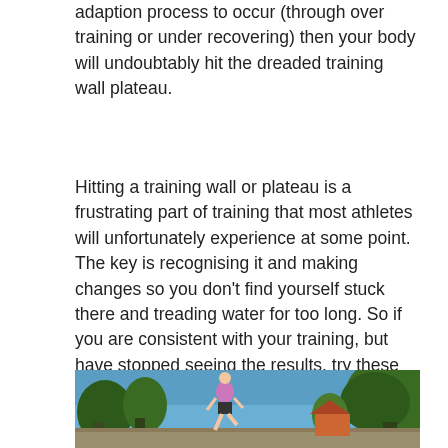adaption process to occur (through over training or under recovering) then your body will undoubtably hit the dreaded training wall plateau.
Hitting a training wall or plateau is a frustrating part of training that most athletes will unfortunately experience at some point. The key is recognising it and making changes so you don't find yourself stuck there and treading water for too long. So if you are consistent with your training, but have stopped seeing the results, try these practical and effective tips and training methods to smash your way through that training wall plateau and reap some serious results (and PB's!) as a result.
[Figure (photo): A runner (person wearing purple top and black shorts) running outdoors with trees and blue sky in the background]